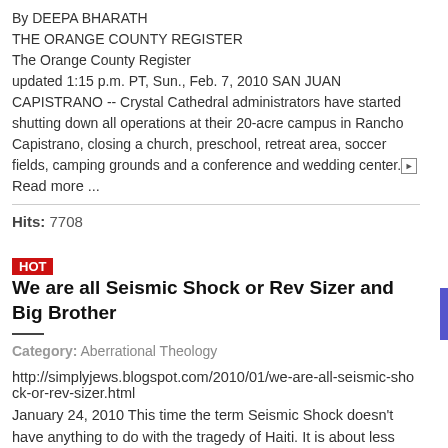By DEEPA BHARATH
THE ORANGE COUNTY REGISTER
The Orange County Register
updated 1:15 p.m. PT, Sun., Feb. 7, 2010 SAN JUAN CAPISTRANO -- Crystal Cathedral administrators have started shutting down all operations at their 20-acre campus in Rancho Capistrano, closing a church, preschool, retreat area, soccer fields, camping grounds and a conference and wedding center. Read more ...
Hits: 7708
HOT  We are all Seismic Shock or Rev Sizer and Big Brother
Category: Aberrational Theology
http://simplyjews.blogspot.com/2010/01/we-are-all-seismic-shock-or-rev-sizer.html
January 24, 2010 This time the term Seismic Shock doesn't have anything to do with the tragedy of Haiti. It is about less